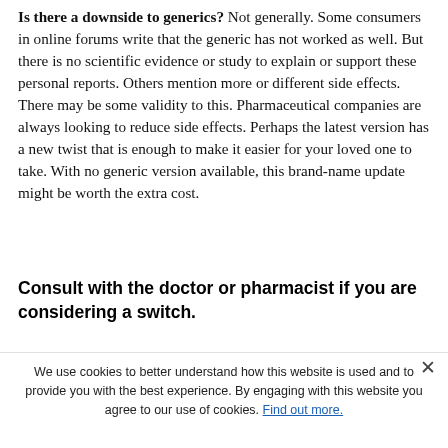Is there a downside to generics? Not generally. Some consumers in online forums write that the generic has not worked as well. But there is no scientific evidence or study to explain or support these personal reports. Others mention more or different side effects. There may be some validity to this. Pharmaceutical companies are always looking to reduce side effects. Perhaps the latest version has a new twist that is enough to make it easier for your loved one to take. With no generic version available, this brand-name update might be worth the extra cost.
Consult with the doctor or pharmacist if you are considering a switch.
We use cookies to better understand how this website is used and to provide you with the best experience. By engaging with this website you agree to our use of cookies. Find out more.